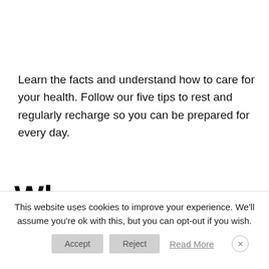Learn the facts and understand how to care for your health. Follow our five tips to rest and regularly recharge so you can be prepared for every day.
Why are Millennial
This website uses cookies to improve your experience. We'll assume you're ok with this, but you can opt-out if you wish.